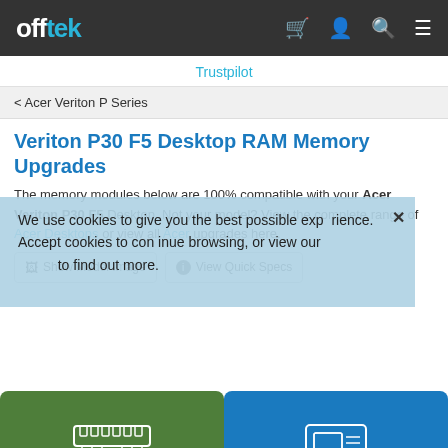offtek [cart] [user] [search] [menu]
Trustpilot
< Acer Veriton P Series
Veriton P30 F5 Desktop RAM Memory Upgrades
The memory modules below are 100% compatible with your Acer Veriton P30 F5 Desktop. Not your model? View the complete range of Acer Desktops or view all Acer upgrades here.
We use cookies to give you the best possible experience. Accept cookies to continue browsing, or view our to find out more.
📷 Show Model Image   ⓘ View Quick Specs
[Figure (infographic): Green card: Memory Upgrades icon with text 'Memory Upgrades 5 upgrades']
[Figure (infographic): Blue card: SSD Upgrades icon with text 'SSD Upgrades 21 upgrades']